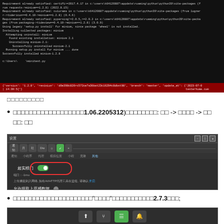[Figure (screenshot): Terminal/command prompt window showing pip install miniux output with red highlighted row showing version info]
□□□□□□□□□
□□□□□□□□□□□□□□□□□□1.06.2205312)□□□□□□□□: □□ -> □□□□ -> □□□□: □□
[Figure (screenshot): Settings window showing toggle switch for a feature, dark UI with green toggle enabled, red oval highlight around toggle area]
□□□□□□□□□□□□□□□□□□□□□"□□□□"□□□□□□□□□□□2.7.3□□□;
[Figure (screenshot): Bottom toolbar of dark UI with icons for share, git branch, menu (green), and notification bell]